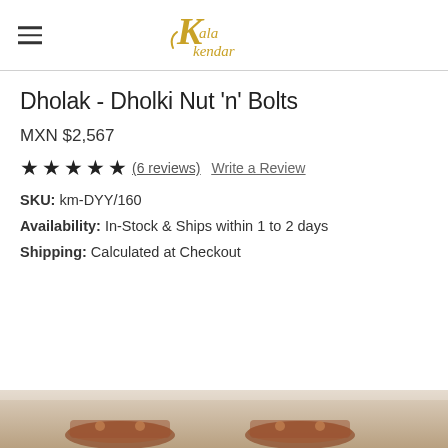Kala Kendar (logo)
Dholak - Dholki Nut 'n' Bolts
MXN $2,567
★★★★★ (6 reviews) Write a Review
SKU: km-DYY/160
Availability: In-Stock & Ships within 1 to 2 days
Shipping: Calculated at Checkout
[Figure (photo): Product photo of Dholak - Dholki Nut n Bolts, partially visible at bottom of page]